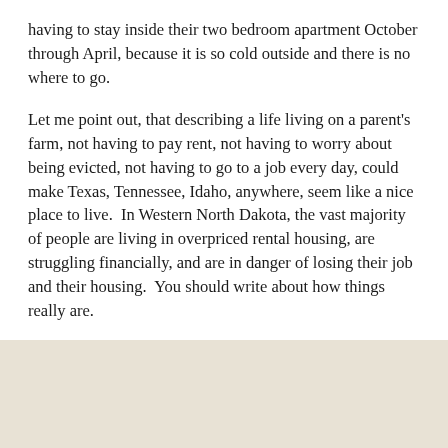having to stay inside their two bedroom apartment October through April, because it is so cold outside and there is no where to go.
Let me point out, that describing a life living on a parent's farm, not having to pay rent, not having to worry about being evicted, not having to go to a job every day, could make Texas, Tennessee, Idaho, anywhere, seem like a nice place to live.  In Western North Dakota, the vast majority of people are living in overpriced rental housing, are struggling financially, and are in danger of losing their job and their housing.  You should write about how things really are.
View all 2 comments